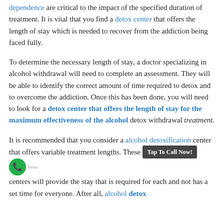dependence are critical to the impact of the specified duration of treatment. It is vital that you find a detox center that offers the length of stay which is needed to recover from the addiction being faced fully.
To determine the necessary length of stay, a doctor specializing in alcohol withdrawal will need to complete an assessment. They will be able to identify the correct amount of time required to detox and to overcome the addiction. Once this has been done, you will need to look for a detox center that offers the length of stay for the maximum effectiveness of the alcohol detox withdrawal treatment.
It is recommended that you consider a alcohol detoxification center that offers variable treatment lengths. These centers will provide the stay that is required for each and not has a set time for everyone. After all, alcohol detox